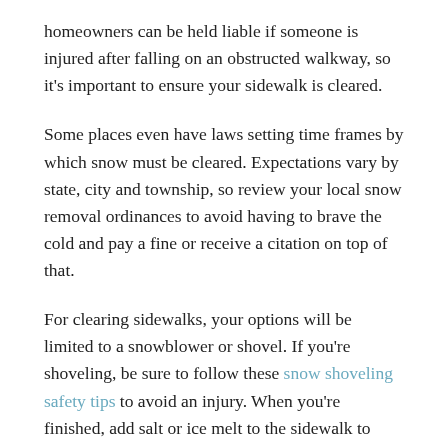homeowners can be held liable if someone is injured after falling on an obstructed walkway, so it's important to ensure your sidewalk is cleared.
Some places even have laws setting time frames by which snow must be cleared. Expectations vary by state, city and township, so review your local snow removal ordinances to avoid having to brave the cold and pay a fine or receive a citation on top of that.
For clearing sidewalks, your options will be limited to a snowblower or shovel. If you're shoveling, be sure to follow these snow shoveling safety tips to avoid an injury. When you're finished, add salt or ice melt to the sidewalk to prevent ice buildup.